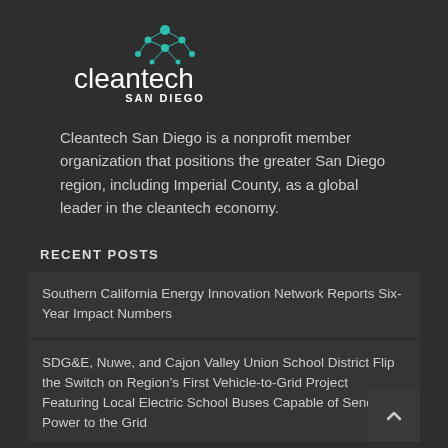[Figure (logo): Cleantech San Diego logo — teal dot-network graphic above 'cleantech' wordmark and 'SAN DIEGO' text]
Cleantech San Diego is a nonprofit member organization that positions the greater San Diego region, including Imperial County, as a global leader in the cleantech economy.
RECENT POSTS
Southern California Energy Innovation Network Reports Six-Year Impact Numbers
SDG&E, Nuwe, and Cajon Valley Union School District Flip the Switch on Region’s First Vehicle-to-Grid Project Featuring Local Electric School Buses Capable of Sending Power to the Grid
VECKTA Closes $3.3 Million SEED Round